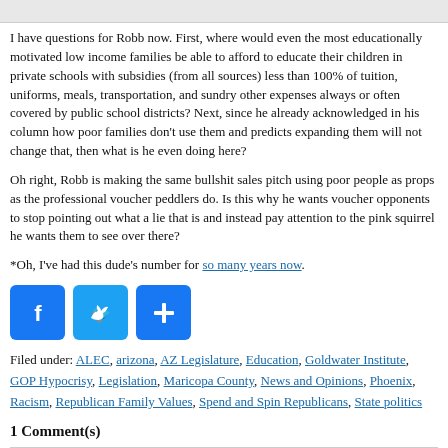I have questions for Robb now. First, where would even the most educationally motivated low income families be able to afford to educate their children in private schools with subsidies (from all sources) less than 100% of tuition, uniforms, meals, transportation, and sundry other expenses always or often covered by public school districts? Next, since he already acknowledged in his column how poor families don't use them and predicts expanding them will not change that, then what is he even doing here?
Oh right, Robb is making the same bullshit sales pitch using poor people as props as the professional voucher peddlers do. Is this why he wants voucher opponents to stop pointing out what a lie that is and instead pay attention to the pink squirrel he wants them to see over there?
*Oh, I've had this dude's number for so many years now.
[Figure (infographic): Three social sharing buttons: Facebook (F), Twitter (bird), and a share/plus button, all in blue square icons.]
Filed under: ALEC, arizona, AZ Legislature, Education, Goldwater Institute, GOP Hypocrisy, Legislation, Maricopa County, News and Opinions, Phoenix, Racism, Republican Family Values, Spend and Spin Republicans, State politics
1 Comment(s)
Comment by Phoenix Justice on April 6, 2017 12:04 pm